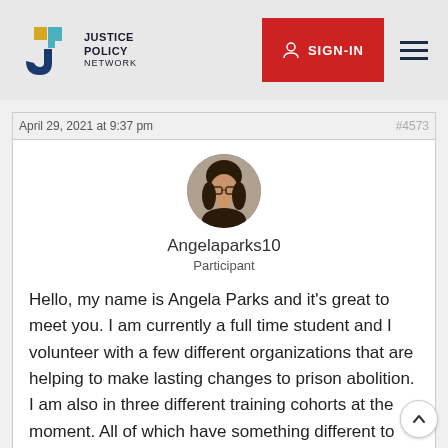Justice Policy Network | SIGN-IN
April 29, 2021 at 9:37 pm
#4573
[Figure (photo): Circular avatar photo of a woman with glasses and dark hair]
Angelaparks10
Participant
Hello, my name is Angela Parks and it's great to meet you. I am currently a full time student and I volunteer with a few different organizations that are helping to make lasting changes to prison abolition. I am also in three different training cohorts at the moment. All of which have something different to offer and bring to the table.